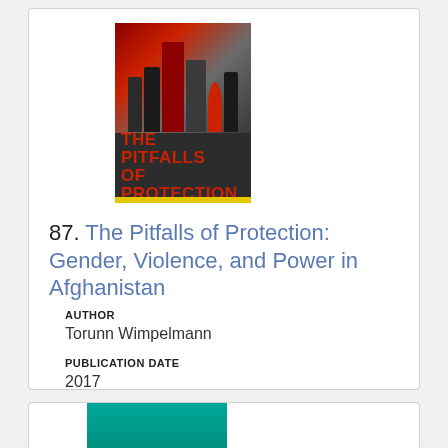[Figure (photo): Book cover of 'The Pitfalls of Protection: Gender, Violence, and Power in Afghanistan' showing women in headscarves at a protest, with red title text and a yellow bar at the bottom.]
87. The Pitfalls of Protection: Gender, Violence, and Power in Afghanistan
AUTHOR
Torunn Wimpelmann
PUBLICATION DATE
2017
[Figure (photo): Partial view of another book cover with a teal/green background, partially visible at the bottom of the page.]